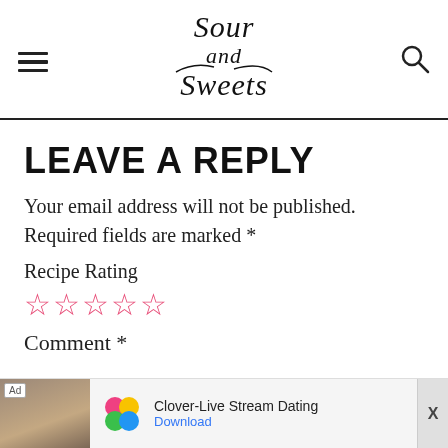Sour and Sweets
LEAVE A REPLY
Your email address will not be published. Required fields are marked *
Recipe Rating
[Figure (other): Five empty pink star rating icons]
Comment *
[Figure (other): Advertisement banner: Clover-Live Stream Dating app ad with Download link]